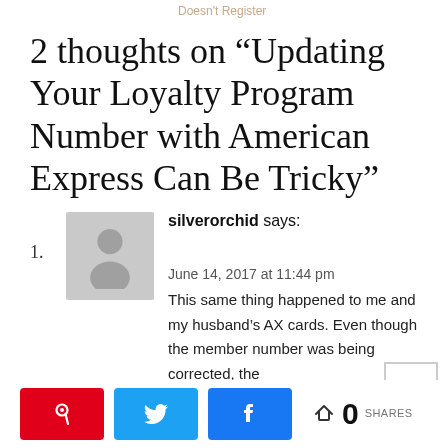Doesn't Register
2 thoughts on “Updating Your Loyalty Program Number with American Express Can Be Tricky”
1. silverorchid says:
June 14, 2017 at 11:44 pm
This same thing happened to me and my husband’s AX cards. Even though the member number was being corrected, the